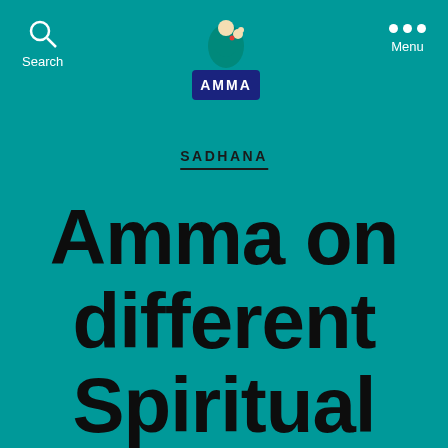Search   AMMA   Menu
SADHANA
Amma on different Spiritual paths